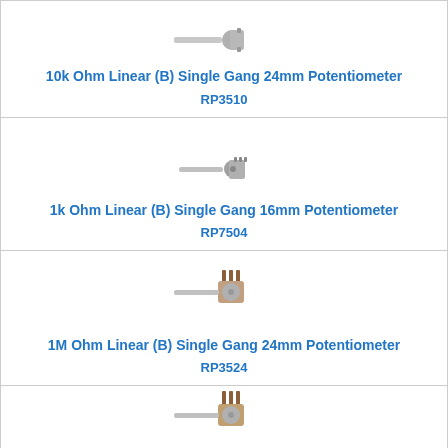[Figure (photo): 10k Ohm Linear (B) Single Gang 24mm Potentiometer - product photo]
10k Ohm Linear (B) Single Gang 24mm Potentiometer
RP3510
[Figure (photo): 1k Ohm Linear (B) Single Gang 16mm Potentiometer - product photo]
1k Ohm Linear (B) Single Gang 16mm Potentiometer
RP7504
[Figure (photo): 1M Ohm Linear (B) Single Gang 24mm Potentiometer - product photo]
1M Ohm Linear (B) Single Gang 24mm Potentiometer
RP3524
[Figure (photo): Another potentiometer - partial view at bottom of page]